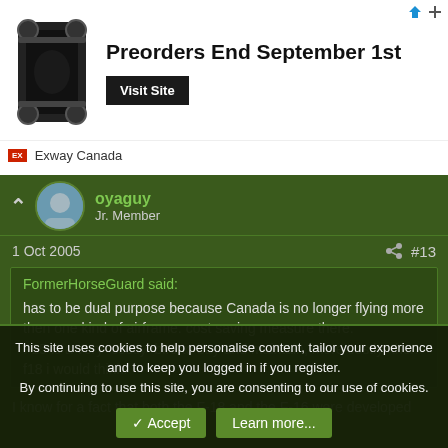[Figure (screenshot): Advertisement banner for Exway Canada electric skateboard. Shows skateboard image on left, text 'Preorders End September 1st' in center, 'Visit Site' button on right, and 'Exway Canada' brand label at bottom.]
oyaguy
Jr. Member
1 Oct 2005
#13
FormerHorseGuard said:
has to be dual purpose because Canada is no longer flying more then one kind of airframe. cost saving measure there.
F15 is a very  costly  bird to buy and maintain, more costly  then f18 i would think.
I know for a fact that both the F-18 and the F-16 were developed
This site uses cookies to help personalise content, tailor your experience and to keep you logged in if you register.
By continuing to use this site, you are consenting to our use of cookies.
Accept   Learn more...